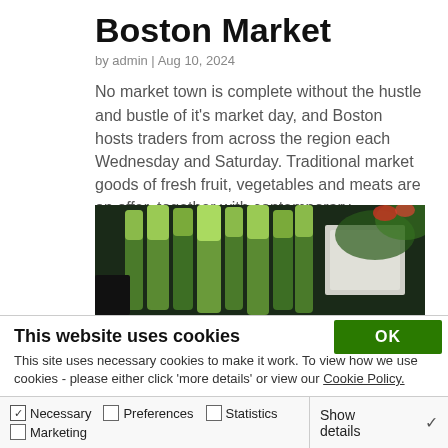Boston Market
by admin | Aug 10, 2024
No market town is complete without the hustle and bustle of it's market day, and Boston hosts traders from across the region each Wednesday and Saturday. Traditional market goods of fresh fruit, vegetables and meats are on offer, together with contemporary...
[Figure (photo): Photo of green leeks/vegetables at a market stall]
This website uses cookies
This site uses necessary cookies to make it work. To view how we use cookies - please either click 'more details' or view our Cookie Policy.
OK
Necessary  Preferences  Statistics  Marketing  Show details